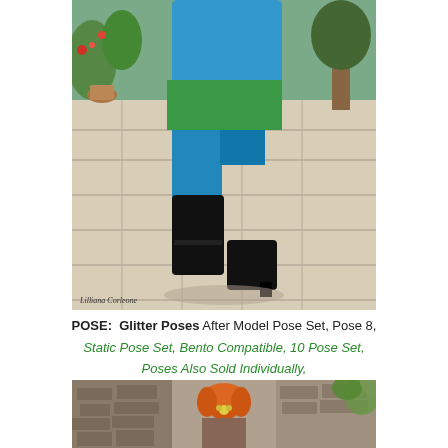[Figure (photo): 3D virtual world avatar woman wearing teal/blue outfit with black knee-high boots, seated on a stone paved outdoor courtyard with garden plants in background. Watermark reads 'Lilliana Corleone' in italic script at bottom left.]
POSE:  Glitter Poses After Model Pose Set, Pose 8, Static Pose Set, Bento Compatible, 10 Pose Set, Poses Also Sold Individually, Exclusive for SWANK Monthly (NEW)
[Figure (photo): Bottom strip showing outdoor courtyard/garden scene with stone walls and foliage, appears to be multiple panels or continuation of the scene.]